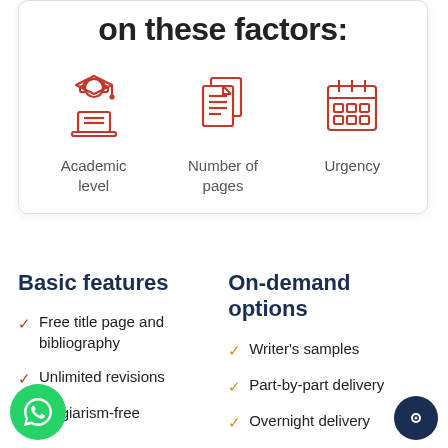on these factors:
[Figure (illustration): Three red line icons: a student with graduation cap at a laptop, a stack of pages/documents, and a calendar grid.]
Academic level
Number of pages
Urgency
Basic features
On-demand options
Free title page and bibliography
Unlimited revisions
Plagiarism-free
Writer's samples
Part-by-part delivery
Overnight delivery